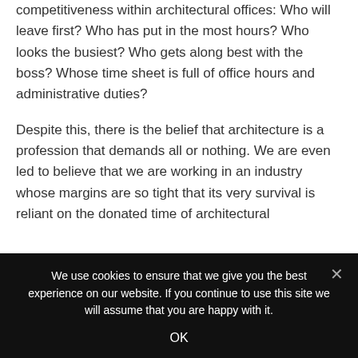competitiveness within architectural offices: Who will leave first? Who has put in the most hours? Who looks the busiest? Who gets along best with the boss? Whose time sheet is full of office hours and administrative duties?
Despite this, there is the belief that architecture is a profession that demands all or nothing. We are even led to believe that we are working in an industry whose margins are so tight that its very survival is reliant on the donated time of architectural
We use cookies to ensure that we give you the best experience on our website. If you continue to use this site we will assume that you are happy with it.
OK